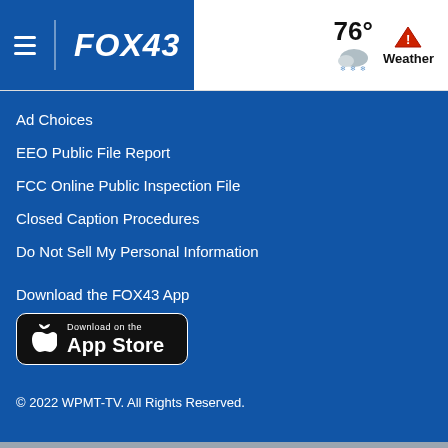FOX43 | 76° Weather
Ad Choices
EEO Public File Report
FCC Online Public Inspection File
Closed Caption Procedures
Do Not Sell My Personal Information
Download the FOX43 App
[Figure (logo): Download on the App Store button]
© 2022 WPMT-TV. All Rights Reserved.